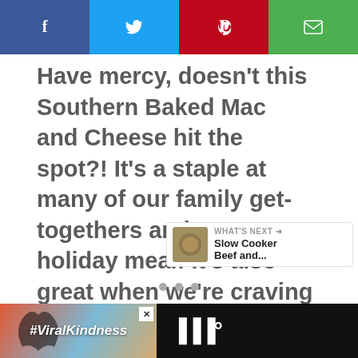[Figure (other): Social sharing bar with Facebook (blue), Twitter (light blue), Pinterest (red), and Email (green) buttons]
Have mercy, doesn't this Southern Baked Mac and Cheese hit the spot?! It's a staple at many of our family get-togethers and at every holiday meal! It's also great when we're craving down-home comfort food for Sunday dinner.
[Figure (infographic): Heart/like button showing 10.3K and a share button]
[Figure (infographic): WHAT'S NEXT panel with thumbnail and text: Slow Cooker Beef and...]
[Figure (other): Advertisement banner showing #ViralKindness with heart hands silhouette image]